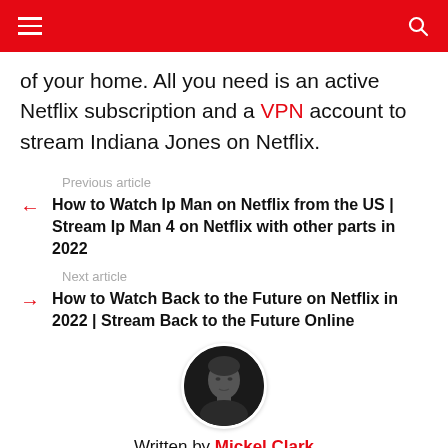Navigation header with hamburger menu and search icon
of your home. All you need is an active Netflix subscription and a VPN account to stream Indiana Jones on Netflix.
Previous article
How to Watch Ip Man on Netflix from the US | Stream Ip Man 4 on Netflix with other parts in 2022
Next article
How to Watch Back to the Future on Netflix in 2022 | Stream Back to the Future Online
[Figure (photo): Circular black and white photo of author Mickel Clark]
Written by Mickel Clark
Mickel is a streaming aficionado who loves nothing more than to